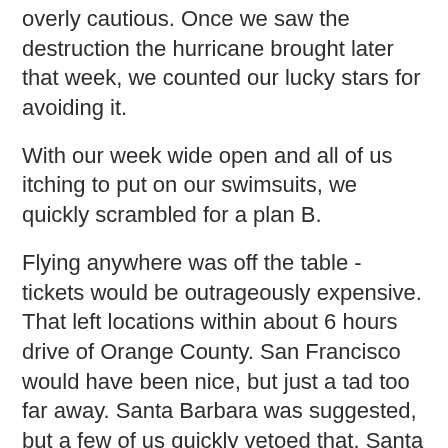overly cautious. Once we saw the destruction the hurricane brought later that week, we counted our lucky stars for avoiding it.
With our week wide open and all of us itching to put on our swimsuits, we quickly scrambled for a plan B.
Flying anywhere was off the table - tickets would be outrageously expensive. That left locations within about 6 hours drive of Orange County. San Francisco would have been nice, but just a tad too far away. Santa Barbara was suggested, but a few of us quickly vetoed that. Santa Barbara is pretty, but it wouldn't feel like much of a vacation compared to Orange County. Orange County is just an artificial Santa Barbara anyway. I literally live in an apartment complex in OC with "Santa Barbara style architecture" stated in its leasing literature.
Then I remembered something I'd been wanting to